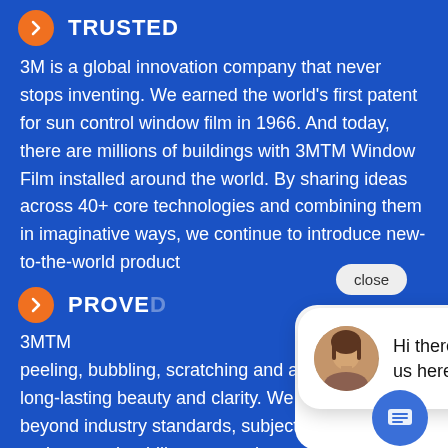TRUSTED
3M is a global innovation company that never stops inventing. We earned the world's first patent for sun control window film in 1966. And today, there are millions of buildings with 3MTM Window Film installed around the world. By sharing ideas across 40+ core technologies and combining them in imaginative ways, we continue to introduce new-to-the-world products
PROVED
3MTM ... peeling, bubbling, scratching and abrasion for long-lasting beauty and clarity. We push beyond industry standards, subjecting our films to rigorous durability tests at the most
[Figure (screenshot): Chat popup with close button, avatar photo of a woman, and message: Hi there, have a question? Text us here.]